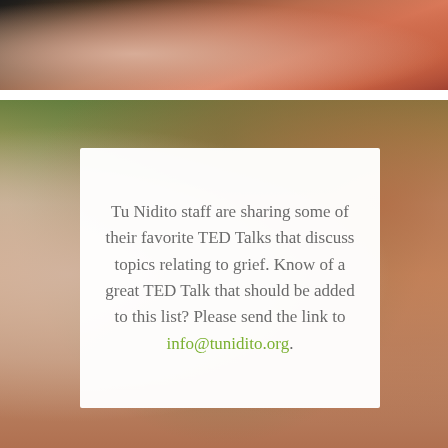[Figure (photo): Top portion: blurred close-up photo showing warm skin tones and fabric in peach/orange hues against dark background]
[Figure (photo): Background photo of a child with blurred green and warm brown/orange bokeh background]
Tu Nidito staff are sharing some of their favorite TED Talks that discuss topics relating to grief. Know of a great TED Talk that should be added to this list? Please send the link to info@tunidito.org.